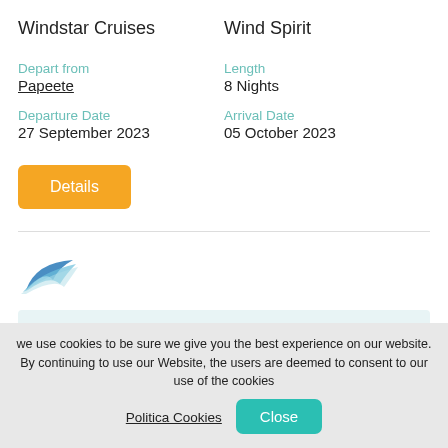Windstar Cruises
Wind Spirit
Depart from
Papeete
Length
8 Nights
Departure Date
27 September 2023
Arrival Date
05 October 2023
Details
[Figure (logo): Blue swoosh/wing logo resembling a travel brand]
we use cookies to be sure we give you the best experience on our website. By continuing to use our Website, the users are deemed to consent to our use of the cookies
Politica Cookies
Close